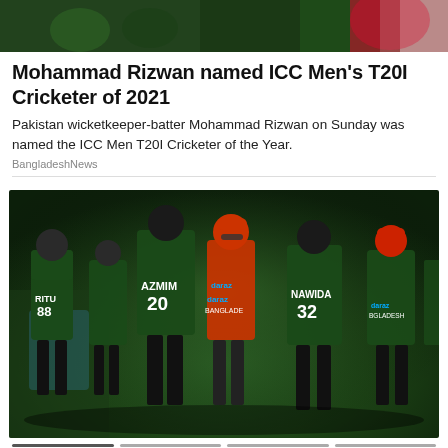[Figure (photo): Top strip photo of cricket players in green Bangladesh uniforms with red accents]
Mohammad Rizwan named ICC Men's T20I Cricketer of 2021
Pakistan wicketkeeper-batter Mohammad Rizwan on Sunday was named the ICC Men T20I Cricketer of the Year.
BangladeshNews
[Figure (photo): Bangladesh women's cricket team players on field, showing jerseys with names RITU 88, AZMIM 20, NAWIDA 32, and a player in red/orange jersey with daraz BANGLADESH sponsor text]